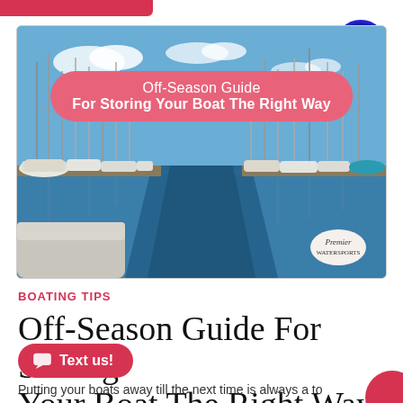[Figure (photo): Marina with sailboats and motorboats docked in calm water under blue sky, with overlay title banner reading 'Off-Season Guide For Storing Your Boat The Right Way' on a pink/salmon rounded rectangle, and Premier Watercraft logo in bottom-right corner]
BOATING TIPS
Off-Season Guide For Storing Your Boat The Right Way
Putting your boats away till the next time is always a to